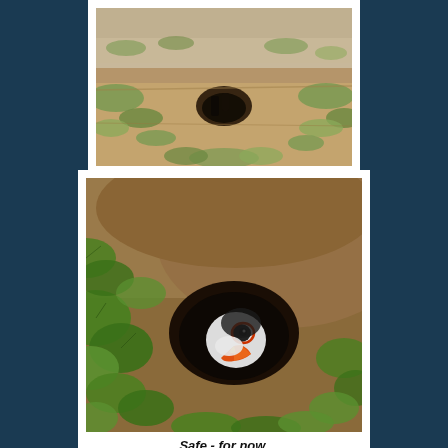[Figure (photo): A puffin burrow entrance visible in bare sandy/earthy ground with low green vegetation around it. The hole is dark inside and a bird shape is barely visible.]
[Figure (photo): A puffin peering out from its burrow entrance surrounded by green ivy-like leaves. The puffin's distinctive colorful beak and white face are visible.]
Safe - for now.